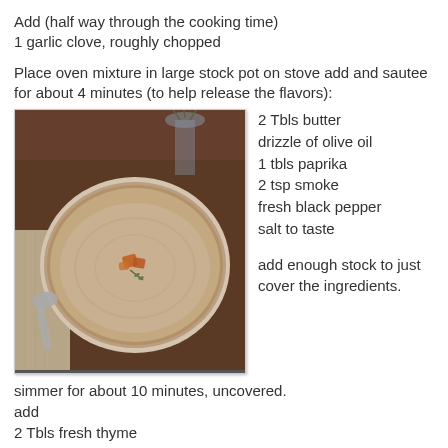Add (half way through the cooking time)
1 garlic clove, roughly chopped
Place oven mixture in large stock pot on stove add and sautee for about 4 minutes (to help release the flavors):
[Figure (photo): A bowl of creamy soup garnished with croutons and herbs, with a spoon beside it on a cloth napkin, on a dark wooden surface. A glass vase with dry herbs is in the background.]
2 Tbls butter
drizzle of olive oil
1 tbls paprika
2 tsp smoke
fresh black pepper
salt to taste

add enough stock to just cover the ingredients.
simmer for about 10 minutes, uncovered.
add
2 Tbls fresh thyme
1 Tbls chili pepper oil